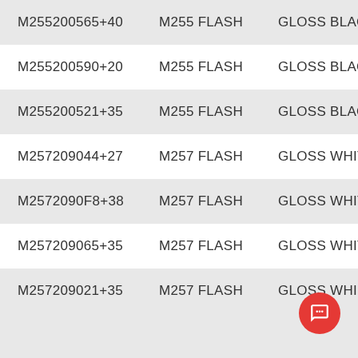| M255200565+40 | M255 FLASH | GLOSS BLACK BRU |
| M255200590+20 | M255 FLASH | GLOSS BLACK BRU |
| M255200521+35 | M255 FLASH | GLOSS BLACK BRU |
| M257209044+27 | M257 FLASH | GLOSS WHITE W/ B |
| M2572090F8+38 | M257 FLASH | GLOSS WHITE W/ B |
| M257209065+35 | M257 FLASH | GLOSS WHITE W/ B |
| M257209021+35 | M257 FLASH | GLOSS WHI...E |